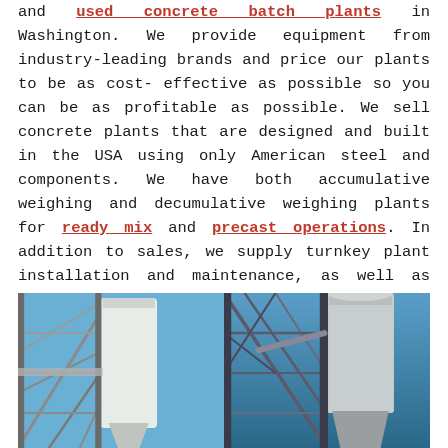and used concrete batch plants in Washington. We provide equipment from industry-leading brands and price our plants to be as cost-effective as possible so you can be as profitable as possible. We sell concrete plants that are designed and built in the USA using only American steel and components. We have both accumulative weighing and decumulative weighing plants for ready mix and precast operations. In addition to sales, we supply turnkey plant installation and maintenance, as well as batch plant parts and troubleshooting services.
[Figure (photo): Photo of a concrete batch plant structure showing steel framework, silos, and conveyors against a blue sky]